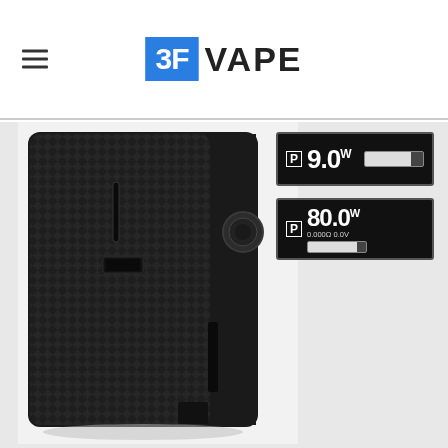3F VAPE
[Figure (photo): Product photo of a black carbon-fiber textured vape mod device (box mod) shown from a three-quarter angle, with a circular fire button on the side. On the right side are two LCD screen display panels showing wattage readings: one showing '9.0W' and another showing '80.0W' with '0.000Ω 0.0V' readings and a battery level bar.]